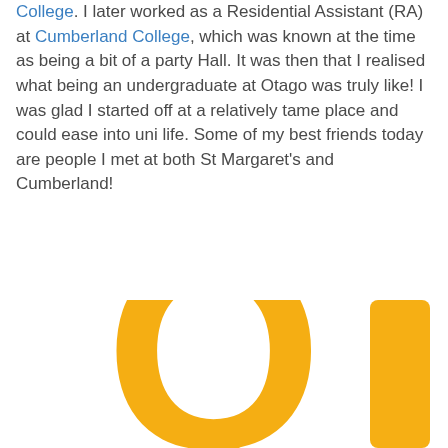College. I later worked as a Residential Assistant (RA) at Cumberland College, which was known at the time as being a bit of a party Hall. It was then that I realised what being an undergraduate at Otago was truly like! I was glad I started off at a relatively tame place and could ease into uni life. Some of my best friends today are people I met at both St Margaret's and Cumberland!
[Figure (logo): Large golden/yellow letters 'Q' and 'I' — partial view of University of Otago logo, cropped at bottom of page]